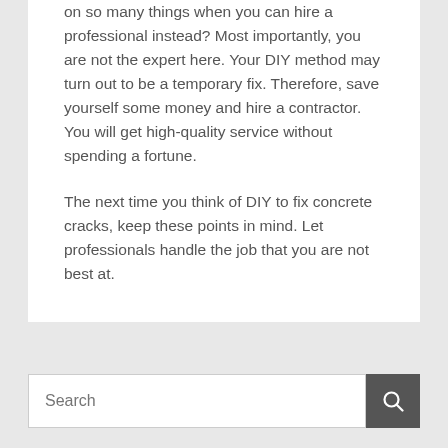on so many things when you can hire a professional instead? Most importantly, you are not the expert here. Your DIY method may turn out to be a temporary fix. Therefore, save yourself some money and hire a contractor. You will get high-quality service without spending a fortune.

The next time you think of DIY to fix concrete cracks, keep these points in mind. Let professionals handle the job that you are not best at.
Search